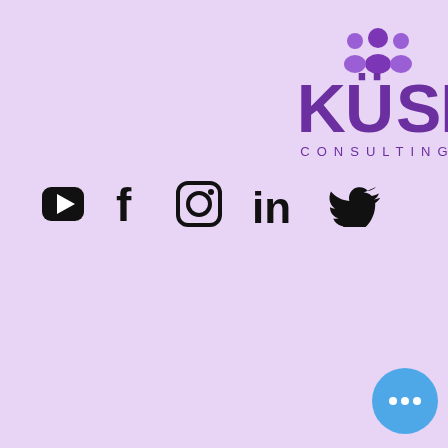[Figure (logo): KUSI Consulting logo with purple text and people icon, on lavender background, with social media icons (YouTube, Facebook, Instagram, LinkedIn, Twitter) and a hamburger menu button]
tion
, and
level of
ery
tions
was
no option than to put him through to the next stage of the employment process. At the interview, keep your answers straight to the point and simple; do not talk too much or too little. Prepare to ask relevant questions. This will throw more light on the position and help you to sure whether the position is really for